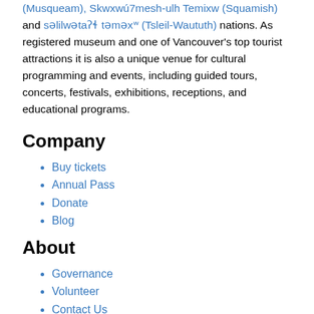(Musqueam), Skwxwú7mesh-ulh Temixw (Squamish) and səlilwətaʔɬ təməxʷ (Tsleil-Waututh) nations. As registered museum and one of Vancouver's top tourist attractions it is also a unique venue for cultural programming and events, including guided tours, concerts, festivals, exhibitions, receptions, and educational programs.
Company
Buy tickets
Annual Pass
Donate
Blog
About
Governance
Volunteer
Contact Us
Support
Dr. Sun Yat-Sen Classical Chinese Garden